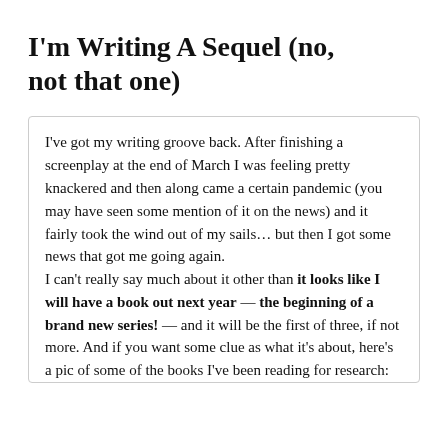I'm Writing A Sequel (no, not that one)
I've got my writing groove back. After finishing a screenplay at the end of March I was feeling pretty knackered and then along came a certain pandemic (you may have seen some mention of it on the news) and it fairly took the wind out of my sails… but then I got some news that got me going again.
I can't really say much about it other than it looks like I will have a book out next year — the beginning of a brand new series! — and it will be the first of three, if not more. And if you want some clue as what it's about, here's a pic of some of the books I've been reading for research: